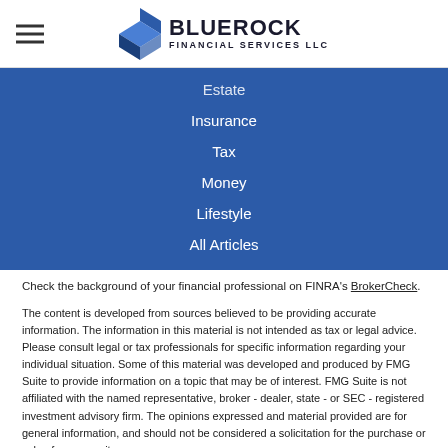BLUEROCK FINANCIAL SERVICES LLC
Estate
Insurance
Tax
Money
Lifestyle
All Articles
All Videos
All Calculators
All Presentations
Check the background of your financial professional on FINRA's BrokerCheck.
The content is developed from sources believed to be providing accurate information. The information in this material is not intended as tax or legal advice. Please consult legal or tax professionals for specific information regarding your individual situation. Some of this material was developed and produced by FMG Suite to provide information on a topic that may be of interest. FMG Suite is not affiliated with the named representative, broker - dealer, state - or SEC - registered investment advisory firm. The opinions expressed and material provided are for general information, and should not be considered a solicitation for the purchase or sale of any security.